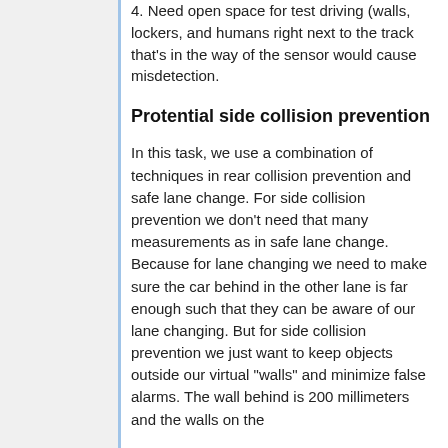4. Need open space for test driving (walls, lockers, and humans right next to the track that's in the way of the sensor would cause misdetection.
Protential side collision prevention
In this task, we use a combination of techniques in rear collision prevention and safe lane change. For side collision prevention we don't need that many measurements as in safe lane change. Because for lane changing we need to make sure the car behind in the other lane is far enough such that they can be aware of our lane changing. But for side collision prevention we just want to keep objects outside our virtual "walls" and minimize false alarms. The wall behind is 200 millimeters and the walls on the